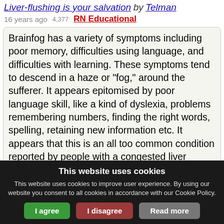Liver-flushing is your salvation by Telman
16 years ago   4,377   RN Educational
Brainfog has a variety of symptoms including poor memory, difficulties using language, and difficulties with learning. These symptoms tend to descend in a haze or "fog," around the sufferer. It appears epitomised by poor language skill, like a kind of dyslexia, problems remembering numbers, finding the right words, spelling, retaining new information etc. It appears that this is an all too common condition reported by people with a congested liver complaint. It looks to be linked to the
This website uses cookies
This website uses cookies to improve user experience. By using our website you consent to all cookies in accordance with our Cookie Policy.
I agree   I disagree   Read more